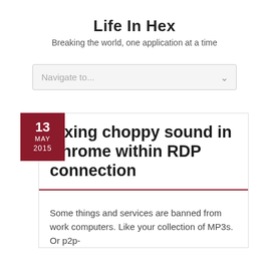Life In Hex
Breaking the world, one application at a time
Navigate to...
[Figure (other): Date badge showing 13 MAY 2015 on dark red background]
Fixing choppy sound in Chrome within RDP connection
Some things and services are banned from work computers. Like your collection of MP3s. Or p2p-